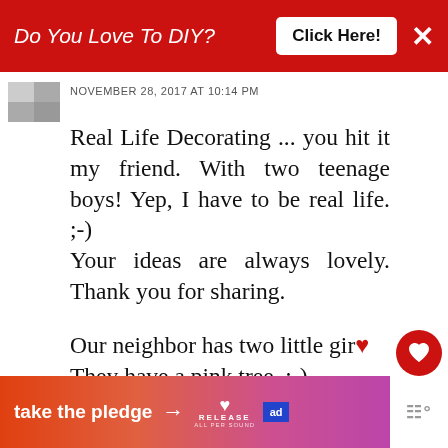[Figure (screenshot): Red advertisement banner at top: 'Do You Love To DIY? Click Here!' with X close button]
NOVEMBER 28, 2017 AT 10:14 PM
Real Life Decorating ... you hit it my friend. With two teenage boys! Yep, I have to be real life. ;-)
Your ideas are always lovely. Thank you for sharing.

Our neighbor has two little girls. They have a pink tree. ;-)
REPLY DELETE
REPLIES
[Figure (screenshot): Bottom advertisement banner: 'take the pledge →' with RELEASE logo and ad icons]
[Figure (screenshot): What's Next panel: Christmas Home Decor... with thumbnail]